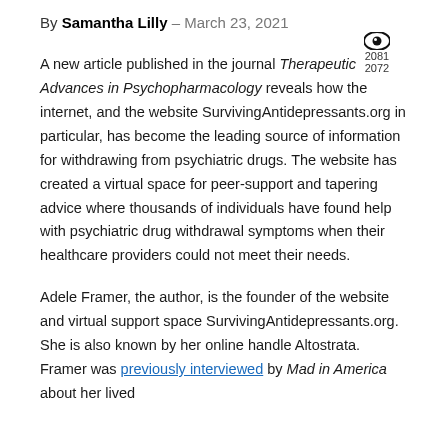By Samantha Lilly – March 23, 2021
2081 2072
A new article published in the journal Therapeutic Advances in Psychopharmacology reveals how the internet, and the website SurvivingAntidepressants.org in particular, has become the leading source of information for withdrawing from psychiatric drugs. The website has created a virtual space for peer-support and tapering advice where thousands of individuals have found help with psychiatric drug withdrawal symptoms when their healthcare providers could not meet their needs.
Adele Framer, the author, is the founder of the website and virtual support space SurvivingAntidepressants.org. She is also known by her online handle Altostrata. Framer was previously interviewed by Mad in America about her lived